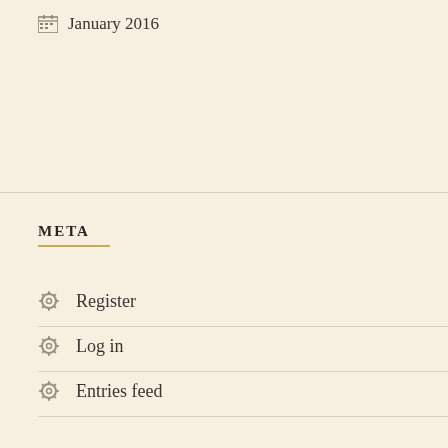January 2016
META
Register
Log in
Entries feed
Comments feed
WordPress.com